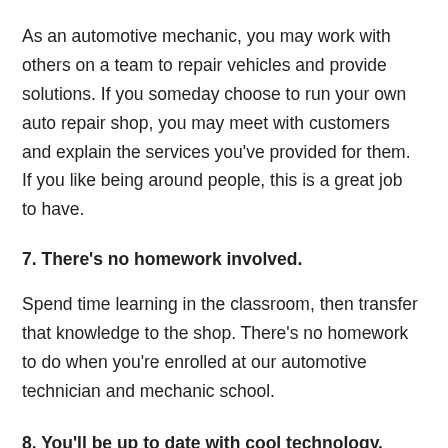As an automotive mechanic, you may work with others on a team to repair vehicles and provide solutions. If you someday choose to run your own auto repair shop, you may meet with customers and explain the services you've provided for them. If you like being around people, this is a great job to have.
7. There's no homework involved.
Spend time learning in the classroom, then transfer that knowledge to the shop. There's no homework to do when you're enrolled at our automotive technician and mechanic school.
8. You'll be up to date with cool technology.